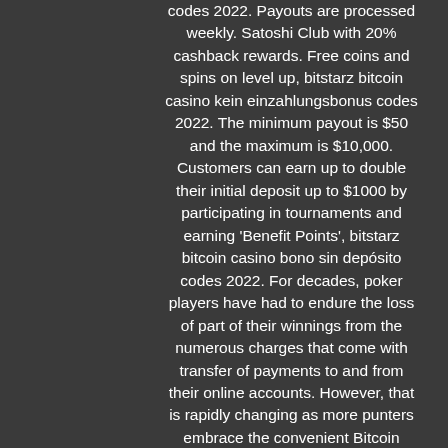codes 2022. Payouts are processed weekly. Satoshi Club with 20% cashback rewards. Free coins and spins on level up, bitstarz bitcoin casino kein einzahlungsbonus codes 2022. The minimum payout is $50 and the maximum is $10,000. Customers can earn up to double their initial deposit up to $1000 by participating in tournaments and earning 'Benefit Points', bitstarz bitcoin casino bono sin depósito codes 2022. For decades, poker players have had to endure the loss of part of their winnings from the numerous charges that come with transfer of payments to and from their online accounts. However, that is rapidly changing as more punters embrace the convenient Bitcoin payment method for online poker, bitstarz bitcoin casino žádný vkladový bonus codes 2022. You clicked on the right article as today I am gonna tell you how to use this kind of cryptocurrency in order to play one of the best, if not the absolute best, of table games that exist in